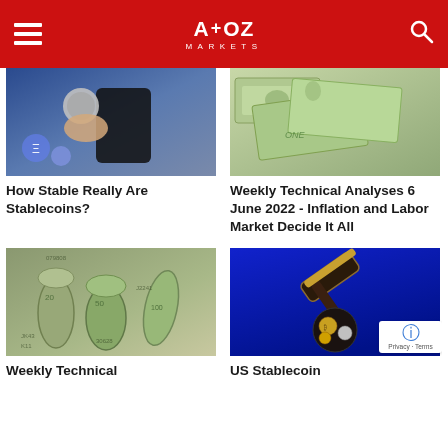A+OZ Markets
[Figure (photo): Hand holding a silver coin with a smartphone and Ethereum coins on a blue background]
How Stable Really Are Stablecoins?
[Figure (photo): US dollar bills scattered on a surface]
Weekly Technical Analyses 6 June 2022 - Inflation and Labor Market Decide It All
[Figure (photo): Rolled US dollar bills on a surface]
Weekly Technical
[Figure (photo): Judge gavel with cryptocurrency coins on a blue background]
US Stablecoin